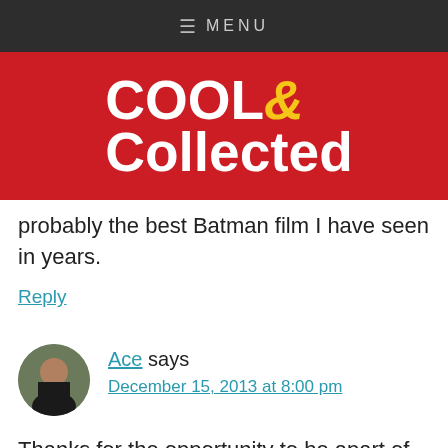≡ MENU
[Figure (logo): Cool & Collected logo: white bold text on red background with yellow ampersand]
probably the best Batman film I have seen in years.
Reply
Ace says December 15, 2013 at 8:00 pm
Thanks for the opportunity to be apart of